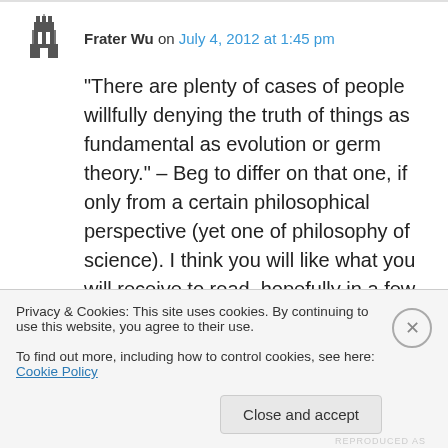Frater Wu on July 4, 2012 at 1:45 pm
“There are plenty of cases of people willfully denying the truth of things as fundamental as evolution or germ theory.” – Beg to differ on that one, if only from a certain philosophical perspective (yet one of philosophy of science). I think you will like what you will receive to read, hopefully in a few months. 🙂
Privacy & Cookies: This site uses cookies. By continuing to use this website, you agree to their use.
To find out more, including how to control cookies, see here: Cookie Policy
Close and accept